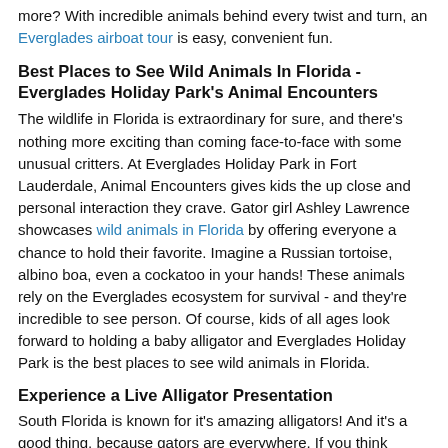more? With incredible animals behind every twist and turn, an Everglades airboat tour is easy, convenient fun.
Best Places to See Wild Animals In Florida - Everglades Holiday Park's Animal Encounters
The wildlife in Florida is extraordinary for sure, and there's nothing more exciting than coming face-to-face with some unusual critters. At Everglades Holiday Park in Fort Lauderdale, Animal Encounters gives kids the up close and personal interaction they crave. Gator girl Ashley Lawrence showcases wild animals in Florida by offering everyone a chance to hold their favorite. Imagine a Russian tortoise, albino boa, even a cockatoo in your hands! These animals rely on the Everglades ecosystem for survival - and they're incredible to see person. Of course, kids of all ages look forward to holding a baby alligator and Everglades Holiday Park is the best places to see wild animals in Florida.
Experience a Live Alligator Presentation
South Florida is known for it's amazing alligators! And it's a good thing, because gators are everywhere. If you think you've seen it all, but haven't had the chance to take in a live alligator presentation at Everglades Holiday Park, you must add it to your bucket list. The Gator Boys Alligator Rescue team delights crowds at the park with some of the most memorable sights in